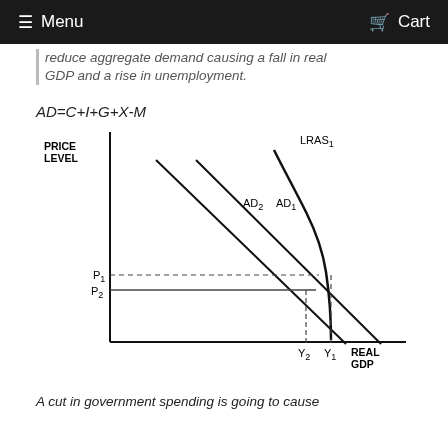Menu  Cart
reduce aggregate demand causing a fall in real GDP and a rise in unemployment.
[Figure (continuous-plot): AD-AS diagram showing PRICE LEVEL on y-axis and REAL GDP on x-axis. LRAS1 is a near-vertical curve on the right. AD1 is a downward-sloping line, AD2 is a downward-sloping line to the left of AD1. P1 (dashed) is the equilibrium price for AD1 intersecting LRAS1. P2 (dashed) is lower, equilibrium for AD2 intersecting LRAS1. Y1 and Y2 are the corresponding real GDP values on the x-axis, with Y2 to the left of Y1.]
A cut in government spending is going to cause